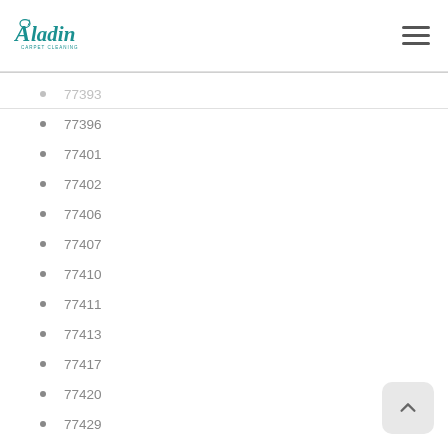Aladin Carpet Cleaning
77393
77396
77401
77402
77406
77407
77410
77411
77413
77417
77420
77429
77430
77433
77435
77441
77444
77447